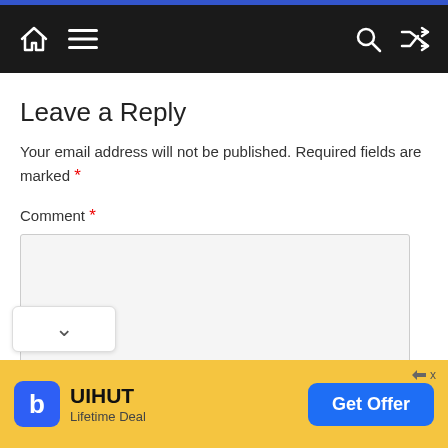Navigation bar with home, menu, search, and shuffle icons
Leave a Reply
Your email address will not be published. Required fields are marked *
Comment *
[Figure (screenshot): Empty comment text area input box]
[Figure (screenshot): Advertisement banner: UIHUT Lifetime Deal - Get Offer button]